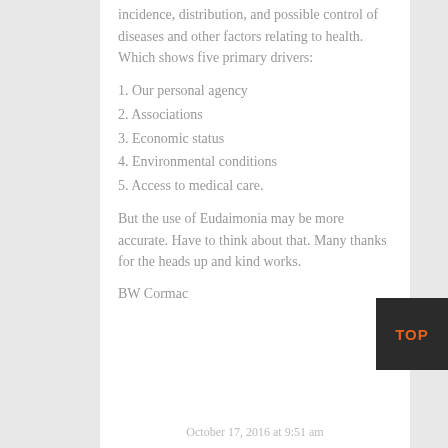incidence, distribution, and possible control of diseases and other factors relating to health. Which shows five primary drivers:
1. Our personal agency
2. Associations
3. Economic status
4. Environmental conditions
5. Access to medical care.
But the use of Eudaimonia may be more accurate. Have to think about that. Many thanks for the heads up and kind works.
BW Cormac
October 17, 2016 at 9:51 am